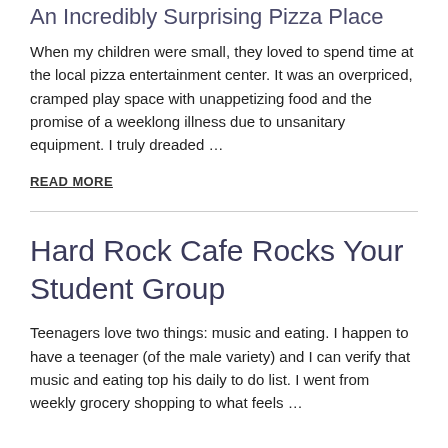An Incredibly Surprising Pizza Place
When my children were small, they loved to spend time at the local pizza entertainment center. It was an overpriced, cramped play space with unappetizing food and the promise of a weeklong illness due to unsanitary equipment. I truly dreaded …
READ MORE
Hard Rock Cafe Rocks Your Student Group
Teenagers love two things: music and eating. I happen to have a teenager (of the male variety) and I can verify that music and eating top his daily to do list. I went from weekly grocery shopping to what feels …